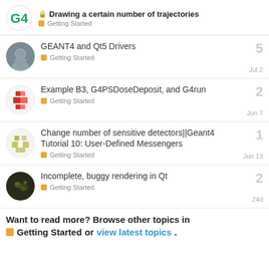🔒 Drawing a certain number of trajectories — Getting Started
GEANT4 and Qt5 Drivers — Getting Started — 5 replies — Jul 2
Example B3, G4PSDoseDeposit, and G4run — Getting Started — 2 replies — Jun 7
Change number of sensitive detectors||Geant4 Tutorial 10: User-Defined Messengers — Getting Started — 1 reply — Jun 13
Incomplete, buggy rendering in Qt — Getting Started — 2 replies — 24d
Want to read more? Browse other topics in Getting Started or view latest topics.